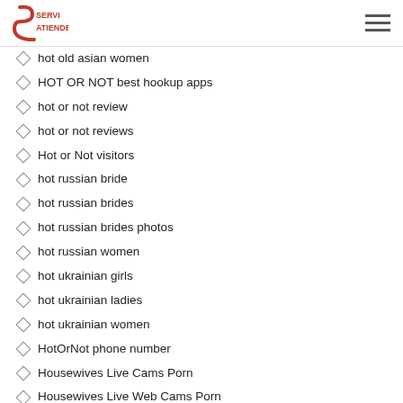SERVIATIENDE
hot old asian women
HOT OR NOT best hookup apps
hot or not review
hot or not reviews
Hot or Not visitors
hot russian bride
hot russian brides
hot russian brides photos
hot russian women
hot ukrainian girls
hot ukrainian ladies
hot ukrainian women
HotOrNot phone number
Housewives Live Cams Porn
Housewives Live Web Cams Porn
Housewives Live XXX Sex